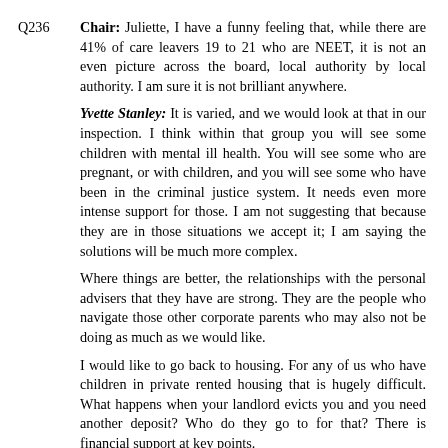Q236 Chair: Juliette, I have a funny feeling that, while there are 41% of care leavers 19 to 21 who are NEET, it is not an even picture across the board, local authority by local authority. I am sure it is not brilliant anywhere.
Yvette Stanley: It is varied, and we would look at that in our inspection. I think within that group you will see some children with mental ill health. You will see some who are pregnant, or with children, and you will see some who have been in the criminal justice system. It needs even more intense support for those. I am not suggesting that because they are in those situations we accept it; I am saying the solutions will be much more complex.
Where things are better, the relationships with the personal advisers that they have are strong. They are the people who navigate those other corporate parents who may also not be doing as much as we would like.
I would like to go back to housing. For any of us who have children in private rented housing that is hugely difficult. What happens when your landlord evicts you and you need another deposit? Who do they go to for that? There is financial support at key points.
My children in care always said to me, “I am ready to be independent,” and then six months into independence they